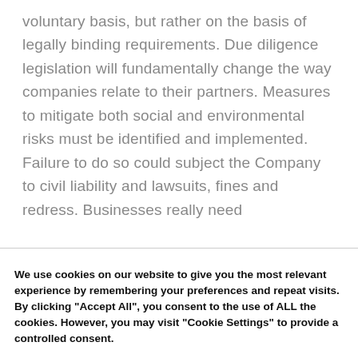voluntary basis, but rather on the basis of legally binding requirements. Due diligence legislation will fundamentally change the way companies relate to their partners. Measures to mitigate both social and environmental risks must be identified and implemented. Failure to do so could subject the Company to civil liability and lawsuits, fines and redress. Businesses really need
We use cookies on our website to give you the most relevant experience by remembering your preferences and repeat visits. By clicking "Accept All", you consent to the use of ALL the cookies. However, you may visit "Cookie Settings" to provide a controlled consent.
Cookie Settings
Accept All